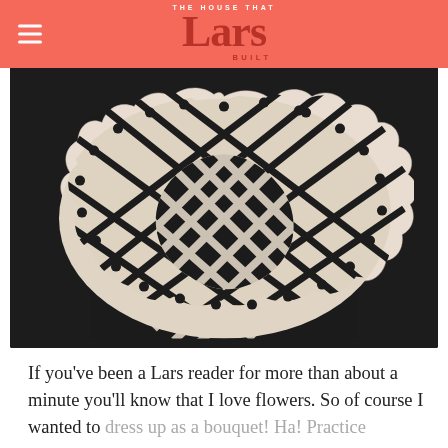THE HOUSE THAT Lars BUILT
[Figure (photo): A cream/beige paper or wood doily collar/necklace shape displayed against a dark black textured background. The doily has a lattice diamond pattern in the center with scalloped edges and small circular holes.]
If you've been a Lars reader for more than about a minute you'll know that I love flowers. So of course I wanted to dress up as a bouquet! Ha! Practice